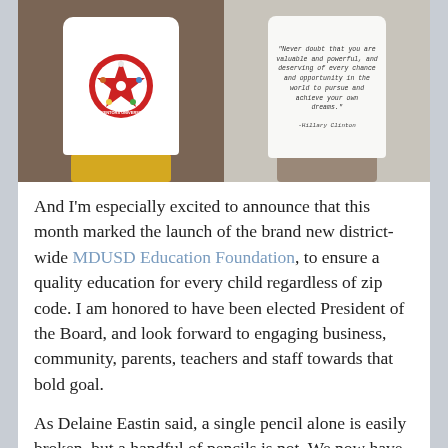[Figure (photo): Two photos of a child wearing a white t-shirt: left shows front with an Inventors University star logo, right shows back with a Hillary Clinton quote in typewriter font.]
And I'm especially excited to announce that this month marked the launch of the brand new district-wide MDUSD Education Foundation, to ensure a quality education for every child regardless of zip code.  I am honored to have been elected President of the Board, and look forward to engaging business, community, parents, teachers and staff towards that bold goal.
As Delaine Eastin said, a single pencil alone is easily broken, but a handful of pencils is not.  We now have over 440 people who joined the Cherise for MDUSD School Board network, and we received 140 campaign donations large and small in 2017.  Person by person, dollar by dollar, we are building a movement